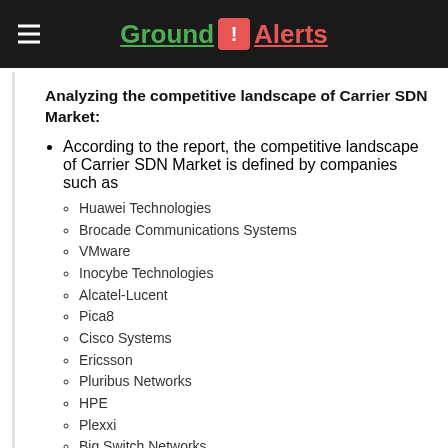Ground ! Alerts
Analyzing the competitive landscape of Carrier SDN Market:
According to the report, the competitive landscape of Carrier SDN Market is defined by companies such as
Huawei Technologies
Brocade Communications Systems
VMware
Inocybe Technologies
Alcatel-Lucent
Pica8
Cisco Systems
Ericsson
Pluribus Networks
HPE
Plexxi
Big Switch Networks
Midokura